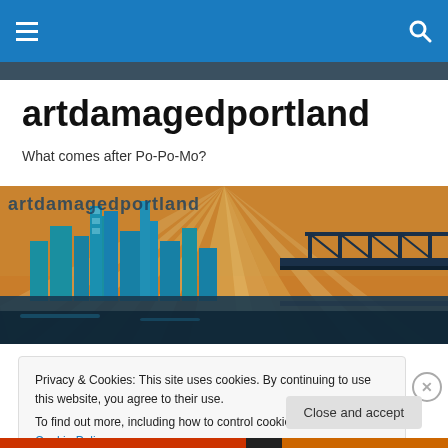artdamagedportland – navigation bar with hamburger menu and search icon
artdamagedportland
What comes after Po-Po-Mo?
[Figure (illustration): Stylized graphic illustration of Portland city skyline with bridge, rendered in teal/blue and orange pop-art style with radiating sunburst lines; text 'artdamagedportland' overlaid at top]
Privacy & Cookies: This site uses cookies. By continuing to use this website, you agree to their use.
To find out more, including how to control cookies, see here: Cookie Policy
Close and accept